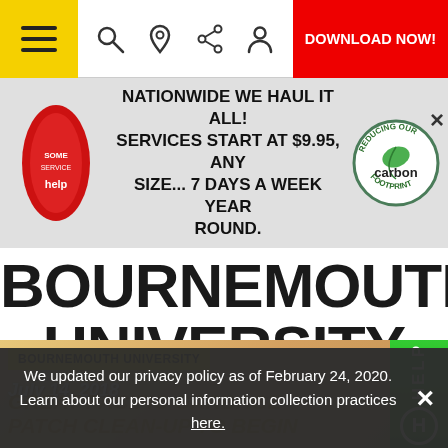Navigation bar with hamburger menu, search, location, share, person icons, and DOWNLOAD NOW! button
[Figure (screenshot): Advertisement banner: red oval logo on left, text NATIONWIDE WE HAUL IT ALL! SERVICES START AT $9.95, ANY SIZE... 7 DAYS A WEEK YEAR ROUND., carbon footprint circular badge on right]
BOURNEMOUTH UNIVERSITY
[Figure (photo): Article thumbnail image for Bournemouth University article dated July 14, 2018 about Great Pacific Garbage Patch Clean-Up to Begin]
BOURNEMOUTH UNIVERSITY
July 14, 2018
GREAT PACIFIC GARBAGE PATCH CLEAN-UP TO BEGIN
We updated our privacy policy as of February 24, 2020. Learn about our personal information collection practices here.